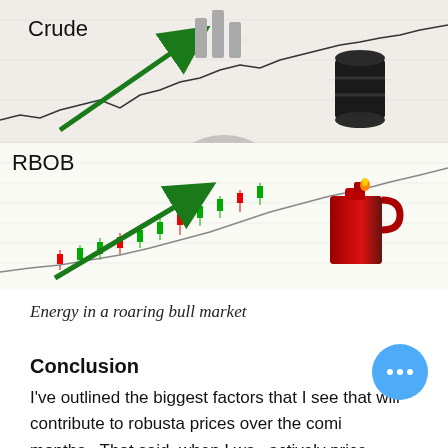[Figure (infographic): Composite image showing two commodity charts (Crude oil and RBOB gasoline) with upward green arrows indicating a bull market trend. The image includes the Coffee Trading Academy logo (ninja coffee cup), a black oil barrel icon, and a red gas can icon. Text labels 'Crude' and 'RBOB' are visible on the respective chart sections.]
Energy in a roaring bull market
Conclusion
I've outlined the biggest factors that I see that will contribute to robusta prices over the coming months.  That said, when I was actively price modelling Robusta